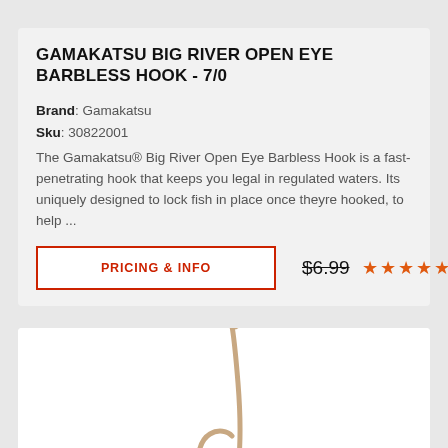GAMAKATSU BIG RIVER OPEN EYE BARBLESS HOOK - 7/0
Brand: Gamakatsu
Sku: 30822001
The Gamakatsu® Big River Open Eye Barbless Hook is a fast-penetrating hook that keeps you legal in regulated waters. Its uniquely designed to lock fish in place once theyre hooked, to help ...
PRICING & INFO
$6.99
[Figure (photo): Close-up photo of a large fishing hook (Gamakatsu Big River Open Eye Barbless Hook) in a bronze/copper color against a white background]